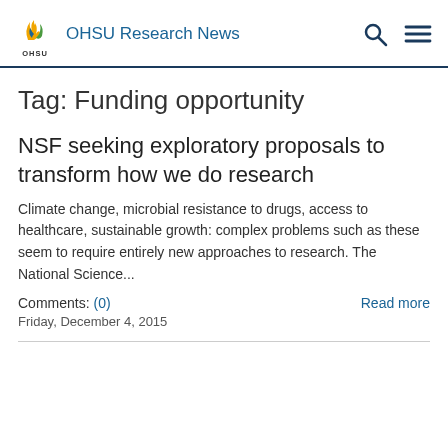OHSU Research News
Tag: Funding opportunity
NSF seeking exploratory proposals to transform how we do research
Climate change, microbial resistance to drugs, access to healthcare, sustainable growth: complex problems such as these seem to require entirely new approaches to research. The National Science...
Comments: (0)    Read more
Friday, December 4, 2015